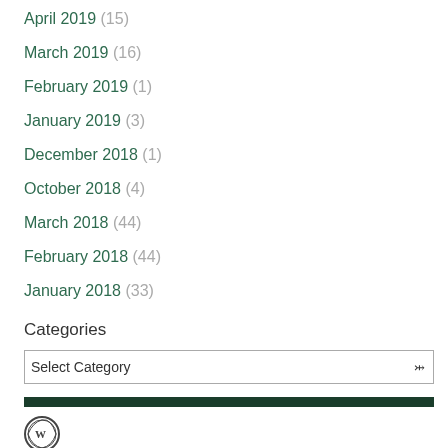April 2019 (15)
March 2019 (16)
February 2019 (1)
January 2019 (3)
December 2018 (1)
October 2018 (4)
March 2018 (44)
February 2018 (44)
January 2018 (33)
Categories
[Figure (screenshot): Select Category dropdown box]
[Figure (illustration): Dark green horizontal bar divider]
[Figure (logo): WordPress logo icon]